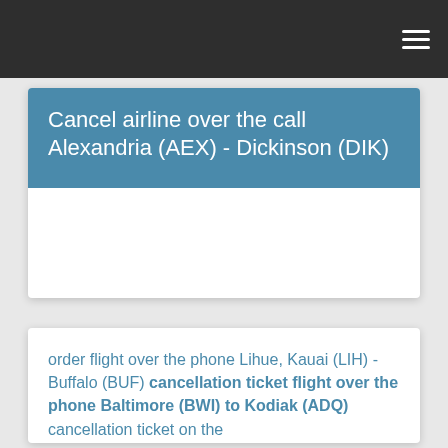☰
Cancel airline over the call Alexandria (AEX) - Dickinson (DIK)
order flight over the phone Lihue, Kauai (LIH) - Buffalo (BUF) cancellation ticket flight over the phone Baltimore (BWI) to Kodiak (ADQ) cancellation ticket on the